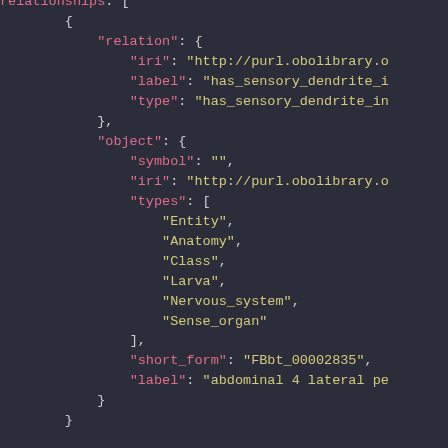JSON code snippet showing relationships array with relation object containing iri, label, type fields, and object containing symbol, iri, types array with Entity, Anatomy, Class, Larva, Nervous_system, Sense_organ, short_form FBbt_00002835, and label abdominal 4 lateral pe...